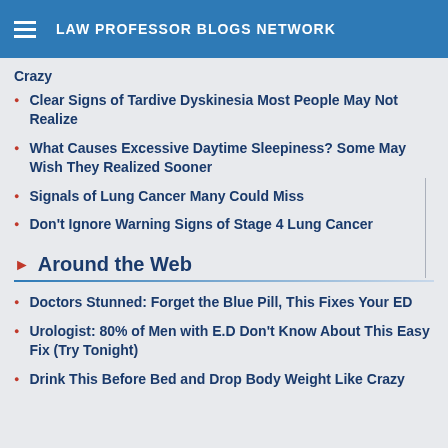LAW PROFESSOR BLOGS NETWORK
Crazy
Clear Signs of Tardive Dyskinesia Most People May Not Realize
What Causes Excessive Daytime Sleepiness? Some May Wish They Realized Sooner
Signals of Lung Cancer Many Could Miss
Don't Ignore Warning Signs of Stage 4 Lung Cancer
Around the Web
Doctors Stunned: Forget the Blue Pill, This Fixes Your ED
Urologist: 80% of Men with E.D Don't Know About This Easy Fix (Try Tonight)
Drink This Before Bed and Drop Body Weight Like Crazy